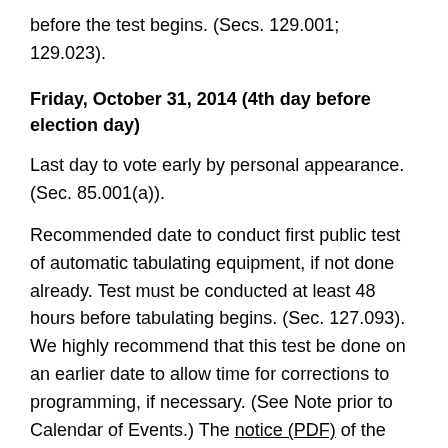before the test begins. (Secs. 129.001; 129.023).
Friday, October 31, 2014 (4th day before election day)
Last day to vote early by personal appearance. (Sec. 85.001(a)).
Recommended date to conduct first public test of automatic tabulating equipment, if not done already. Test must be conducted at least 48 hours before tabulating begins. (Sec. 127.093). We highly recommend that this test be done on an earlier date to allow time for corrections to programming, if necessary. (See Note prior to Calendar of Events.) The notice (PDF) of the test must be published at